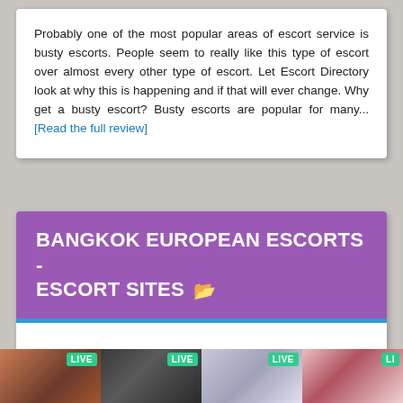Probably one of the most popular areas of escort service is busty escorts. People seem to really like this type of escort over almost every other type of escort. Let Escort Directory look at why this is happening and if that will ever change. Why get a busty escort? Busty escorts are popular for many... [Read the full review]
BANGKOK EUROPEAN ESCORTS - ESCORT SITES
[Figure (photo): Four live webcam thumbnail images showing adult content, each with a green LIVE badge.]